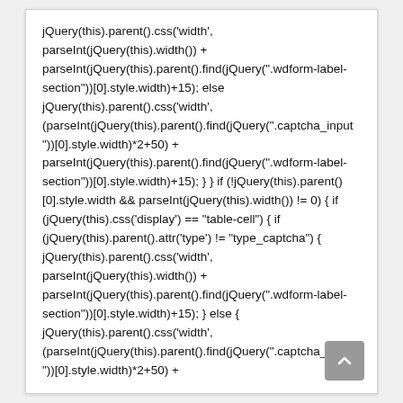jQuery(this).parent().css('width', parseInt(jQuery(this).width()) + parseInt(jQuery(this).parent().find(jQuery(".wdform-label-section"))[0].style.width)+15); else jQuery(this).parent().css('width', (parseInt(jQuery(this).parent().find(jQuery(".captcha_input"))[0].style.width)*2+50) + parseInt(jQuery(this).parent().find(jQuery(".wdform-label-section"))[0].style.width)+15); } } if (!jQuery(this).parent()[0].style.width && parseInt(jQuery(this).width()) != 0) { if (jQuery(this).css('display') == "table-cell") { if (jQuery(this).parent().attr('type') != "type_captcha") { jQuery(this).parent().css('width', parseInt(jQuery(this).width()) + parseInt(jQuery(this).parent().find(jQuery(".wdform-label-section"))[0].style.width)+15); } else { jQuery(this).parent().css('width', (parseInt(jQuery(this).parent().find(jQuery(".captcha_input"))[0].style.width)*2+50) +